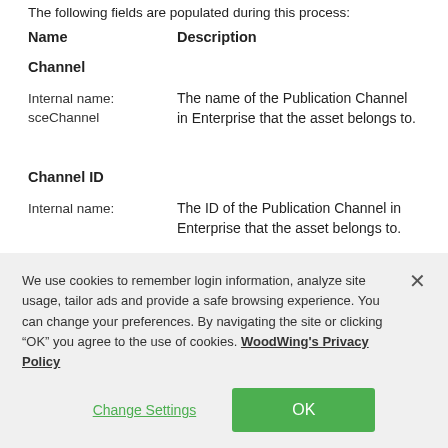The following fields are populated during this process:
| Name | Description |
| --- | --- |
| Channel
Internal name: sceChannel | The name of the Publication Channel in Enterprise that the asset belongs to. |
| Channel ID
Internal name: | The ID of the Publication Channel in Enterprise that the asset belongs to. |
We use cookies to remember login information, analyze site usage, tailor ads and provide a safe browsing experience. You can change your preferences. By navigating the site or clicking “OK” you agree to the use of cookies. WoodWing's Privacy Policy
Change Settings
OK